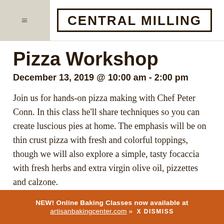CENTRAL MILLING
Pizza Workshop
December 13, 2019 @ 10:00 am - 2:00 pm
Join us for hands-on pizza making with Chef Peter Conn. In this class he’ll share techniques so you can create luscious pies at home. The emphasis will be on thin crust pizza with fresh and colorful toppings, though we will also explore a simple, tasty focaccia with fresh herbs and extra virgin olive oil, pizzettes and calzone.
Learn how to make a quick & easy dough that can
NEW! Online Baking Classes now available at artisanbakingcenter.com »  X DISMISS